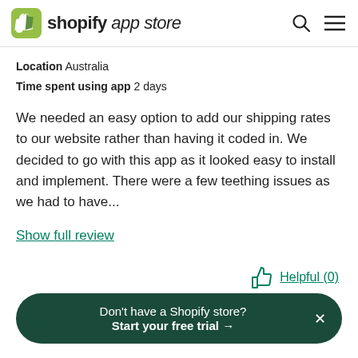shopify app store
Location  Australia
Time spent using app  2 days
We needed an easy option to add our shipping rates to our website rather than having it coded in. We decided to go with this app as it looked easy to install and implement. There were a few teething issues as we had to have...
Show full review
Helpful (0)
Don't have a Shopify store?
Start your free trial →